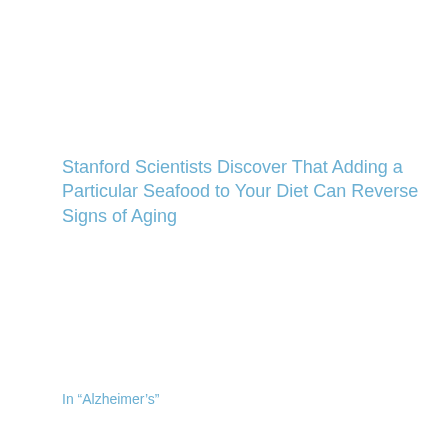Stanford Scientists Discover That Adding a Particular Seafood to Your Diet Can Reverse Signs of Aging
In "Alzheimer's"